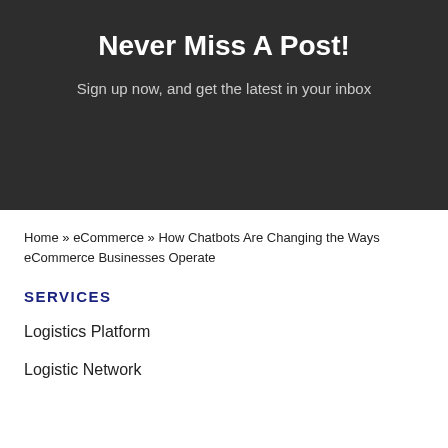Never Miss A Post!
Sign up now, and get the latest in your inbox
Home » eCommerce » How Chatbots Are Changing the Ways eCommerce Businesses Operate
SERVICES
Logistics Platform
Logistic Network